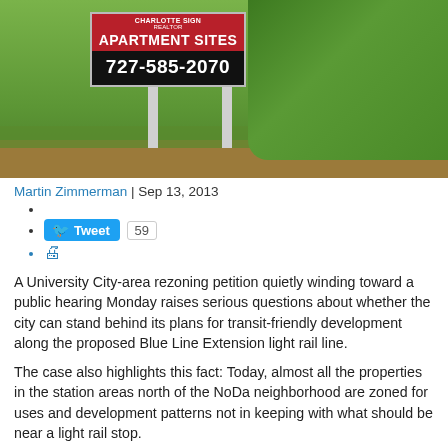[Figure (photo): A real estate sign reading 'APARTMENT SITES 727-585-2070' standing in a grassy lot with dense green vegetation in the background.]
Martin Zimmerman | Sep 13, 2013
Tweet 59
(print icon)
A University City-area rezoning petition quietly winding toward a public hearing Monday raises serious questions about whether the city can stand behind its plans for transit-friendly development along the proposed Blue Line Extension light rail line.
The case also highlights this fact: Today, almost all the properties in the station areas north of the NoDa neighborhood are zoned for uses and development patterns not in keeping with what should be near a light rail stop.